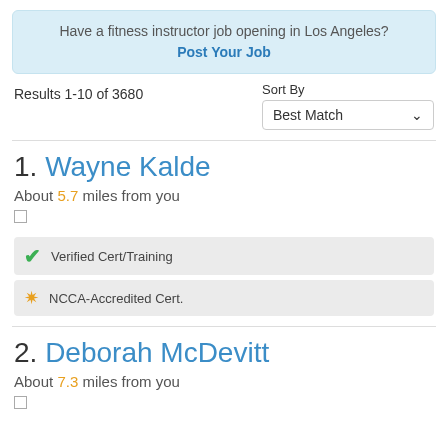Have a fitness instructor job opening in Los Angeles? Post Your Job
Results 1-10 of 3680
Sort By Best Match
1. Wayne Kalde
About 5.7 miles from you
Verified Cert/Training
NCCA-Accredited Cert.
2. Deborah McDevitt
About 7.3 miles from you